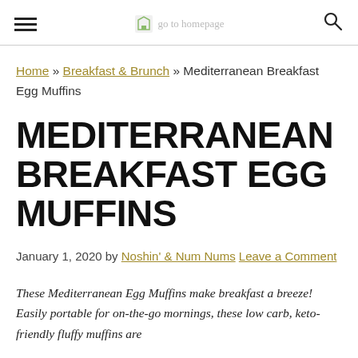go to homepage
Home » Breakfast & Brunch » Mediterranean Breakfast Egg Muffins
MEDITERRANEAN BREAKFAST EGG MUFFINS
January 1, 2020 by Noshin' & Num Nums Leave a Comment
These Mediterranean Egg Muffins make breakfast a breeze! Easily portable for on-the-go mornings, these low carb, keto-friendly fluffy muffins are